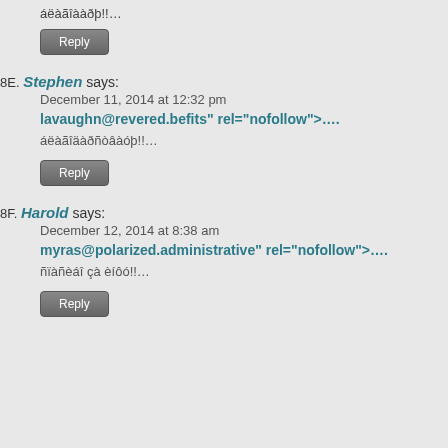áëàãîààðþ!!…
Reply
8E. Stephen says:
December 11, 2014 at 12:32 pm
lavaughn@revered.befits" rel="nofollow">....
áëàãîäàðñòâàóþ!!…
Reply
8F. Harold says:
December 12, 2014 at 8:38 am
myras@polarized.administrative" rel="nofollow">....
ñïàñèáî çà èíôó!!…
Reply